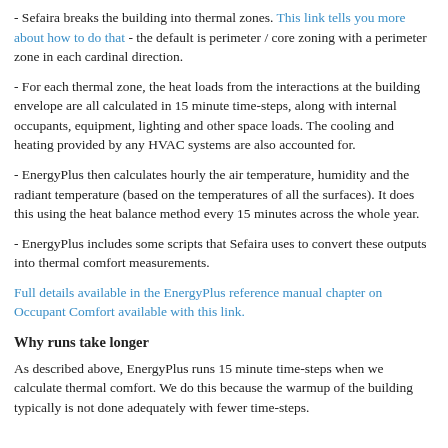- Sefaira breaks the building into thermal zones. This link tells you more about how to do that - the default is perimeter / core zoning with a perimeter zone in each cardinal direction.
- For each thermal zone, the heat loads from the interactions at the building envelope are all calculated in 15 minute time-steps, along with internal occupants, equipment, lighting and other space loads. The cooling and heating provided by any HVAC systems are also accounted for.
- EnergyPlus then calculates hourly the air temperature, humidity and the radiant temperature (based on the temperatures of all the surfaces). It does this using the heat balance method every 15 minutes across the whole year.
- EnergyPlus includes some scripts that Sefaira uses to convert these outputs into thermal comfort measurements.
Full details available in the EnergyPlus reference manual chapter on Occupant Comfort available with this link.
Why runs take longer
As described above, EnergyPlus runs 15 minute time-steps when we calculate thermal comfort. We do this because the warmup of the building typically is not done adequately with fewer time-steps.